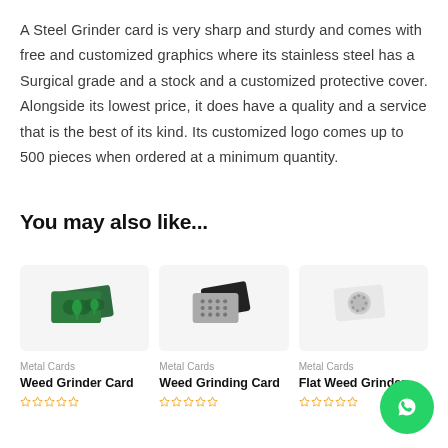A Steel Grinder card is very sharp and sturdy and comes with free and customized graphics where its stainless steel has a Surgical grade and a stock and a customized protective cover. Alongside its lowest price, it does have a quality and a service that is the best of its kind. Its customized logo comes up to 500 pieces when ordered at a minimum quantity.
You may also like...
[Figure (photo): Green metal card with cannabis leaf design (Weed Grinder Card product image)]
Metal Cards
Weed Grinder Card
[Figure (photo): Black metal card grinder (Weed Grinding Card product image)]
Metal Cards
Weed Grinding Card
[Figure (photo): Flat weed grinder card (Flat Weed Grinder product image)]
Metal Cards
Flat Weed Grinder